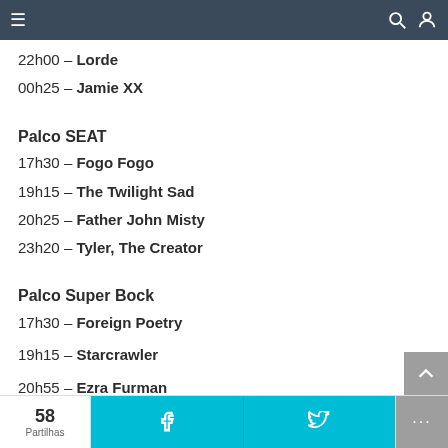Navigation bar with menu, search and user icons
22h00 – Lorde
00h25 – Jamie XX
Palco SEAT
17h30 – Fogo Fogo
19h15 – The Twilight Sad
20h25 – Father John Misty
23h20 – Tyler, The Creator
Palco Super Bock
17h30 – Foreign Poetry
19h15 – Starcrawler
20h55 – Ezra Furman
58 Partilhas | Facebook share | Twitter share | ...